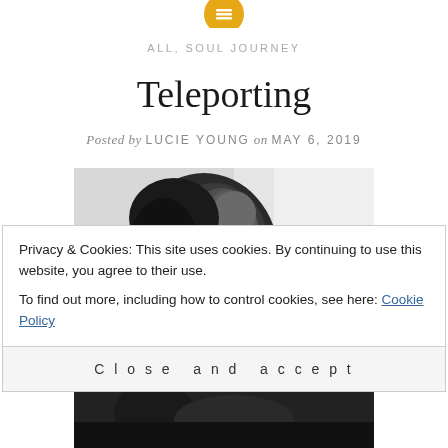[Figure (logo): Gold/yellow circular icon with horizontal lines (hamburger menu or list icon) at top center]
ALL, SOUL JOURNEY
Teleporting
Posted by LUCIE YOUNG on MAY 6, 2019
[Figure (photo): Black and white photograph of a child looking upward, close-up portrait]
Privacy & Cookies: This site uses cookies. By continuing to use this website, you agree to their use.
To find out more, including how to control cookies, see here: Cookie Policy
Close and accept
[Figure (photo): Black and white photograph partially visible at bottom of page]